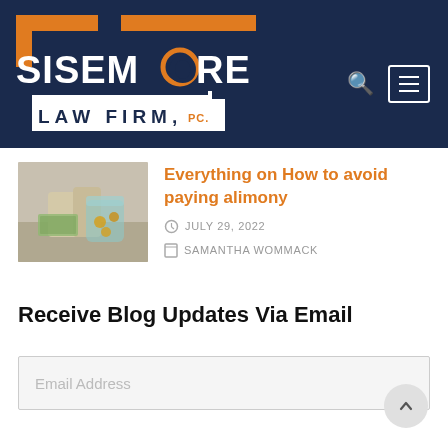[Figure (logo): Sisemore Law Firm, PC logo — orange and white geometric mark with navy background]
[Figure (photo): Photo of hands exchanging money near glass jar, alimony-related image]
Everything on How to avoid paying alimony
JULY 29, 2022
SAMANTHA WOMMACK
Receive Blog Updates Via Email
Email Address